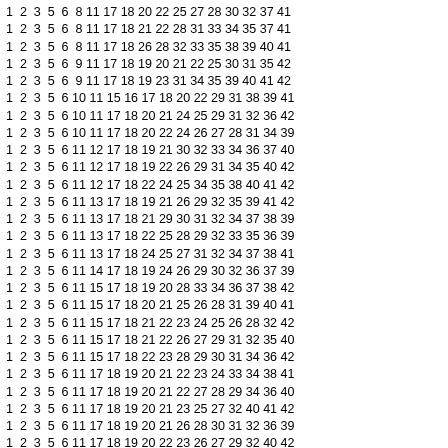| 1 | 2 | 3 | 5 | 6 | 8 | 11 | 17 | 18 | 20 | 22 | 25 | 27 | 28 | 30 | 32 | 37 | 41 |
| 1 | 2 | 3 | 5 | 6 | 8 | 11 | 17 | 18 | 21 | 22 | 28 | 31 | 33 | 34 | 35 | 37 | 41 |
| 1 | 2 | 3 | 5 | 6 | 8 | 11 | 17 | 18 | 26 | 28 | 32 | 33 | 35 | 38 | 39 | 40 | 41 |
| 1 | 2 | 3 | 5 | 6 | 9 | 11 | 17 | 18 | 19 | 20 | 21 | 22 | 25 | 30 | 31 | 35 | 42 |
| 1 | 2 | 3 | 5 | 6 | 9 | 11 | 17 | 18 | 19 | 23 | 31 | 34 | 35 | 39 | 40 | 41 | 42 |
| 1 | 2 | 3 | 5 | 6 | 10 | 11 | 15 | 16 | 17 | 18 | 20 | 22 | 29 | 31 | 38 | 39 | 41 |
| 1 | 2 | 3 | 5 | 6 | 10 | 11 | 17 | 18 | 20 | 21 | 24 | 25 | 29 | 31 | 32 | 36 | 42 |
| 1 | 2 | 3 | 5 | 6 | 10 | 11 | 17 | 18 | 20 | 22 | 24 | 26 | 27 | 28 | 31 | 34 | 39 |
| 1 | 2 | 3 | 5 | 6 | 11 | 12 | 17 | 18 | 19 | 21 | 30 | 32 | 33 | 34 | 36 | 37 | 40 |
| 1 | 2 | 3 | 5 | 6 | 11 | 12 | 17 | 18 | 19 | 22 | 26 | 29 | 31 | 34 | 35 | 40 | 42 |
| 1 | 2 | 3 | 5 | 6 | 11 | 12 | 17 | 18 | 22 | 24 | 25 | 34 | 35 | 38 | 40 | 41 | 42 |
| 1 | 2 | 3 | 5 | 6 | 11 | 13 | 17 | 18 | 19 | 21 | 26 | 29 | 32 | 35 | 39 | 41 | 42 |
| 1 | 2 | 3 | 5 | 6 | 11 | 13 | 17 | 18 | 21 | 29 | 30 | 31 | 32 | 34 | 37 | 38 | 39 |
| 1 | 2 | 3 | 5 | 6 | 11 | 13 | 17 | 18 | 22 | 25 | 28 | 29 | 32 | 33 | 35 | 36 | 39 |
| 1 | 2 | 3 | 5 | 6 | 11 | 13 | 17 | 18 | 24 | 25 | 27 | 31 | 32 | 34 | 37 | 38 | 41 |
| 1 | 2 | 3 | 5 | 6 | 11 | 14 | 17 | 18 | 19 | 24 | 26 | 29 | 30 | 32 | 36 | 37 | 39 |
| 1 | 2 | 3 | 5 | 6 | 11 | 15 | 17 | 18 | 19 | 20 | 28 | 33 | 34 | 36 | 37 | 38 | 42 |
| 1 | 2 | 3 | 5 | 6 | 11 | 15 | 17 | 18 | 20 | 21 | 25 | 26 | 28 | 31 | 39 | 40 | 41 |
| 1 | 2 | 3 | 5 | 6 | 11 | 15 | 17 | 18 | 21 | 22 | 23 | 24 | 25 | 26 | 28 | 32 | 42 |
| 1 | 2 | 3 | 5 | 6 | 11 | 15 | 17 | 18 | 21 | 22 | 26 | 27 | 29 | 31 | 32 | 35 | 40 |
| 1 | 2 | 3 | 5 | 6 | 11 | 15 | 17 | 18 | 22 | 23 | 28 | 29 | 30 | 31 | 34 | 36 | 42 |
| 1 | 2 | 3 | 5 | 6 | 11 | 17 | 18 | 19 | 20 | 21 | 22 | 23 | 24 | 33 | 34 | 38 | 41 |
| 1 | 2 | 3 | 5 | 6 | 11 | 17 | 18 | 19 | 20 | 21 | 22 | 27 | 28 | 29 | 34 | 36 | 40 |
| 1 | 2 | 3 | 5 | 6 | 11 | 17 | 18 | 19 | 20 | 21 | 23 | 25 | 27 | 32 | 40 | 41 | 42 |
| 1 | 2 | 3 | 5 | 6 | 11 | 17 | 18 | 19 | 20 | 21 | 26 | 28 | 30 | 31 | 32 | 36 | 39 |
| 1 | 2 | 3 | 5 | 6 | 11 | 17 | 18 | 19 | 20 | 22 | 23 | 26 | 27 | 29 | 32 | 40 | 42 |
| 1 | 2 | 3 | 5 | 6 | 11 | 17 | 18 | 19 | 20 | 23 | 24 | 25 | 26 | 28 | 35 | 36 | 41 |
| 1 | 2 | 3 | 5 | 6 | 11 | 17 | 18 | 19 | 20 | 23 | 24 | 27 | 29 | 32 | 39 | 40 | 41 |
| 1 | 2 | 3 | 5 | 6 | 11 | 17 | 18 | 19 | 20 | 23 | 24 | 30 | 31 | 37 | 38 | 41 | 42 |
| 1 | 2 | 3 | 5 | 6 | 11 | 17 | 18 | 19 | 20 | 23 | 27 | 28 | 30 | 36 | 39 | 40 | 42 |